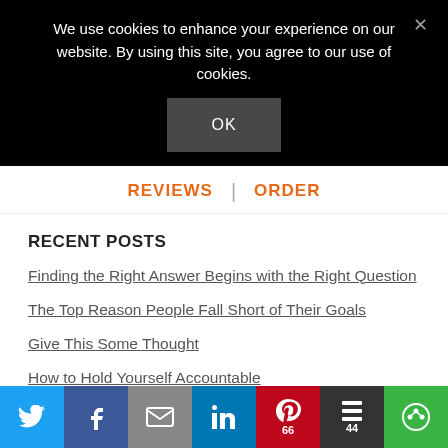We use cookies to enhance your experience on our website. By using this site, you agree to our use of cookies.
OK
REVIEWS | ORDER
RECENT POSTS
Finding the Right Answer Begins with the Right Question
The Top Reason People Fall Short of Their Goals
Give This Some Thought
How to Hold Yourself Accountable
[Figure (screenshot): Social media sharing bar with Twitter, Facebook, Email, LinkedIn, Pinterest (66), Buffer (44), and a green share button at the bottom of the page]